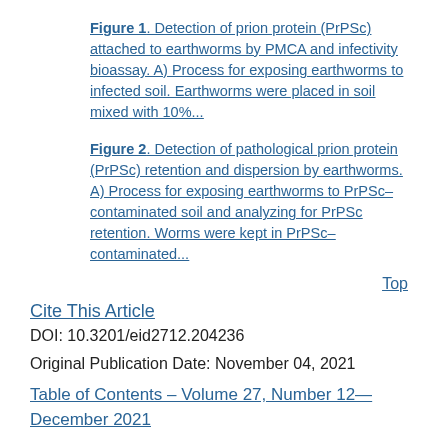Figure 1. Detection of prion protein (PrPSc) attached to earthworms by PMCA and infectivity bioassay. A) Process for exposing earthworms to infected soil. Earthworms were placed in soil mixed with 10%...
Figure 2. Detection of pathological prion protein (PrPSc) retention and dispersion by earthworms. A) Process for exposing earthworms to PrPSc–contaminated soil and analyzing for PrPSc retention. Worms were kept in PrPSc–contaminated...
Top
Cite This Article
DOI: 10.3201/eid2712.204236
Original Publication Date: November 04, 2021
Table of Contents – Volume 27, Number 12—December 2021